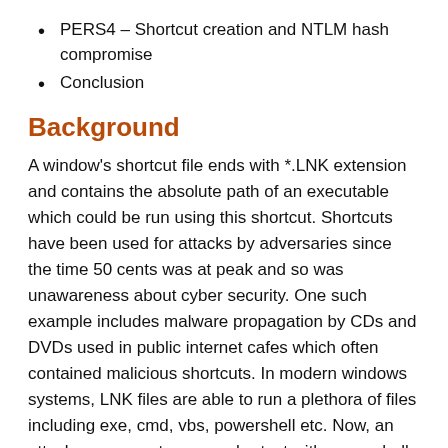PERS4 – Shortcut creation and NTLM hash compromise
Conclusion
Background
A window's shortcut file ends with *.LNK extension and contains the absolute path of an executable which could be run using this shortcut. Shortcuts have been used for attacks by adversaries since the time 50 cents was at peak and so was unawareness about cyber security. One such example includes malware propagation by CDs and DVDs used in public internet cafes which often contained malicious shortcuts. In modern windows systems, LNK files are able to run a plethora of files including exe, cmd, vbs, powershell etc. Now, an attacker can create a new shortcut with powershell script embedded or can modify an existing shortcut for stealthier attacks. In this article,